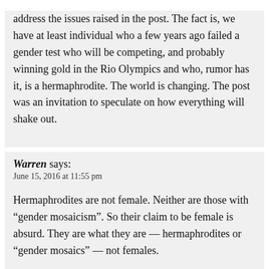address the issues raised in the post. The fact is, we have at least individual who a few years ago failed a gender test who will be competing, and probably winning gold in the Rio Olympics and who, rumor has it, is a hermaphrodite. The world is changing. The post was an invitation to speculate on how everything will shake out.
Warren says: June 15, 2016 at 11:55 pm
Hermaphrodites are not female. Neither are those with “gender mosaicism”. So their claim to be female is absurd. They are what they are — hermaphrodites or “gender mosaics” — not females.